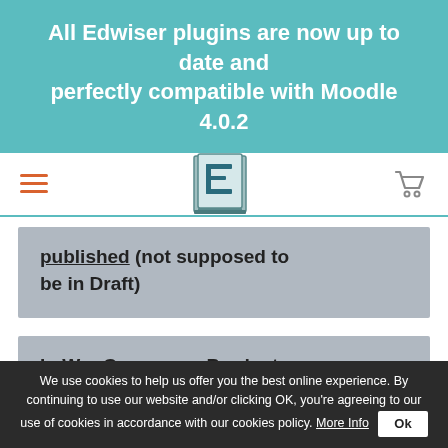All Edwiser plugins are now up to date and perfectly compatible with Moodle 4.0.2
[Figure (logo): Edwiser logo - stylized letter E on a book, hamburger menu icon in orange, shopping cart icon]
published (not supposed to be in Draft)
In WooCommerce Products:
1) Check if Virtual and Downloadable is ticked.
We use cookies to help us offer you the best online experience. By continuing to use our website and/or clicking OK, you're agreeing to our use of cookies in accordance with our cookies policy. More Info Ok